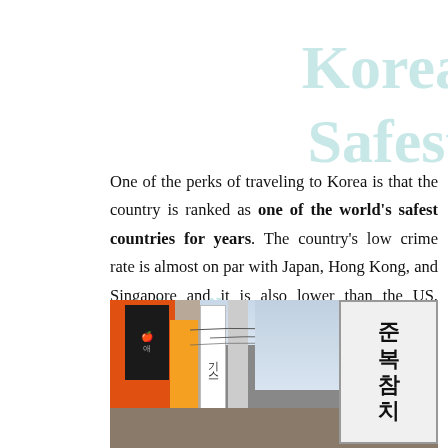Korea Safest
One of the perks of traveling to Korea is that the country is ranked as one of the world’s safest countries for years. The country’s low crime rate is almost on par with Japan, Hong Kong, and Singapore and it is also lower than the US. Travelers won’t have to be worried to walk around at night even at larger cities.
[Figure (photo): Street scene in Korea showing colorful shop signs with Korean text, including an orange sign, an Apple store sign, and a white sign with Korean characters 준복참치.]